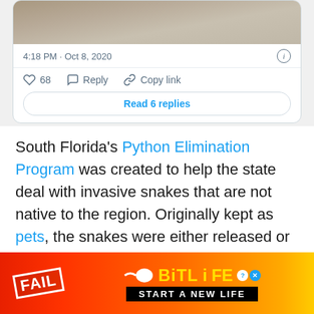[Figure (screenshot): Tweet card showing a sandy/dirt photo, timestamp 4:18 PM Oct 8, 2020, with 68 likes, Reply, Copy link actions, and Read 6 replies button]
South Florida's Python Elimination Program was created to help the state deal with invasive snakes that are not native to the region. Originally kept as pets, the snakes were either released or escaped into the wilderness and continued breeding (female
[Figure (screenshot): BitLife advertisement banner with FAIL text, cartoon character, fire, and START A NEW LIFE text]